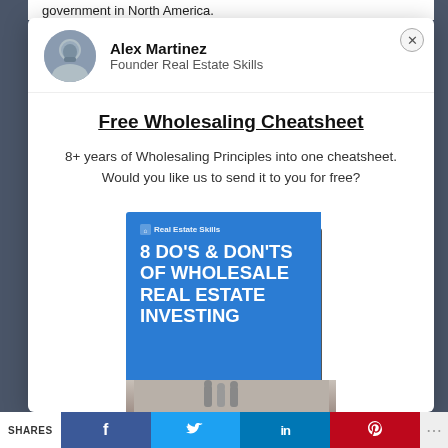government in North America.
Alex Martinez
Founder Real Estate Skills
Free Wholesaling Cheatsheet
8+ years of Wholesaling Principles into one cheatsheet. Would you like us to send it to you for free?
[Figure (illustration): Book cover: 8 Do's & Don'ts of Wholesale Real Estate Investing by Real Estate Skills, blue cover with white bold text]
SHARES